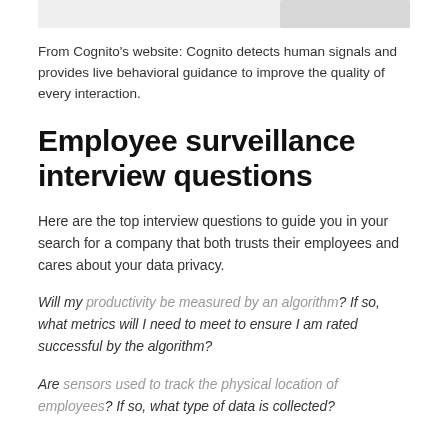[Figure (screenshot): Top bar image strip, partially visible, with a gray UI element on the right side]
From Cognito's website: Cognito detects human signals and provides live behavioral guidance to improve the quality of every interaction.
Employee surveillance interview questions
Here are the top interview questions to guide you in your search for a company that both trusts their employees and cares about your data privacy.
Will my productivity be measured by an algorithm? If so, what metrics will I need to meet to ensure I am rated successful by the algorithm?
Are sensors used to track the physical location of employees? If so, what type of data is collected?